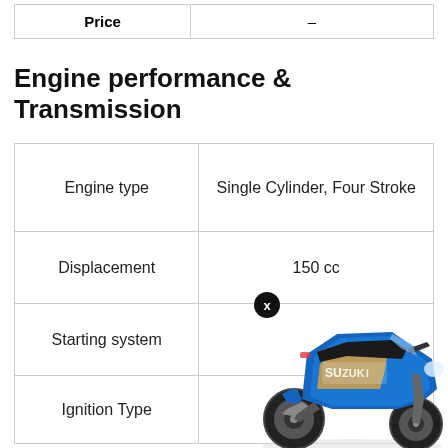| Price | – |
| --- | --- |
Engine performance & Transmission
|  |  |
| --- | --- |
| Engine type | Single Cylinder, Four Stroke |
| Displacement | 150 cc |
| Starting system |  |
| Ignition Type |  |
[Figure (photo): Blue Suzuki Gixxer motorcycle with 'SUZUKI' branding on the fairing, side view.]